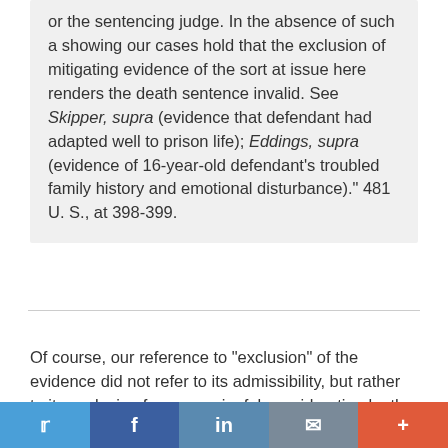or the sentencing judge. In the absence of such a showing our cases hold that the exclusion of mitigating evidence of the sort at issue here renders the death sentence invalid. See Skipper, supra (evidence that defendant had adapted well to prison life); Eddings, supra (evidence of 16-year-old defendant's troubled family history and emotional disturbance)." 481 U. S., at 398-399.
Of course, our reference to "exclusion" of the evidence did not refer to its admissibility, but rather to its exclusion from meaningful consideration by the jury. Had Jurek and Proffitt truly stood for the proposition that the mere availability of relevant mitigating evidence was sufficient to satisfy the Constitution's requirements, Hitchcock could never have